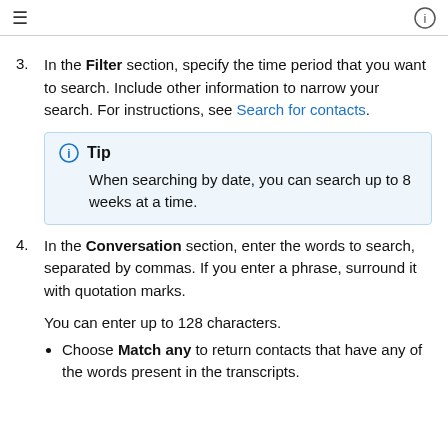≡  ⓘ
3. In the Filter section, specify the time period that you want to search. Include other information to narrow your search. For instructions, see Search for contacts.
Tip
When searching by date, you can search up to 8 weeks at a time.
4. In the Conversation section, enter the words to search, separated by commas. If you enter a phrase, surround it with quotation marks.
You can enter up to 128 characters.
Choose Match any to return contacts that have any of the words present in the transcripts.